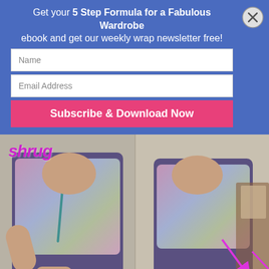Get your 5 Step Formula for a Fabulous Wardrobe ebook and get our weekly wrap newsletter free!
Name
Email Address
Subscribe & Download Now
[Figure (photo): Two side-by-side photos of a woman wearing a purple dress with a colorful patterned shrug/scarf draped over her shoulders. The word 'shrug' appears in purple italic text in the top-left. Magenta arrows point to how the scarf is styled as a shrug.]
How to Make a Shrug from a Square Scarf